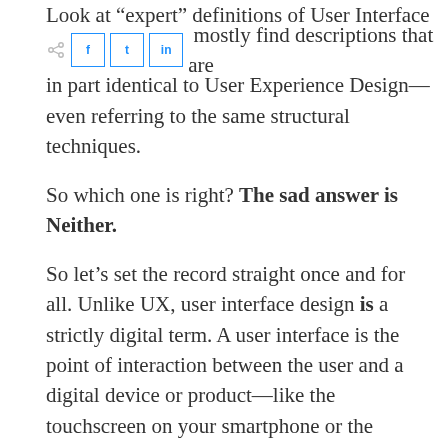Look at “expert” definitions of User Interface Design and you’ll mostly find descriptions that are in part identical to User Experience Design—even referring to the same structural techniques.
So which one is right? The sad answer is Neither.
So let’s set the record straight once and for all. Unlike UX, user interface design is a strictly digital term. A user interface is the point of interaction between the user and a digital device or product—like the touchscreen on your smartphone or the touchpad you use to select what kind of coffee you want from the coffee